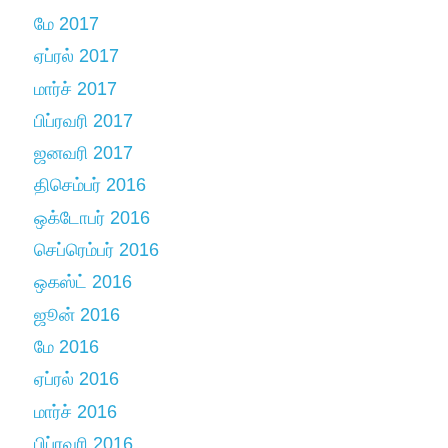மே 2017
ஏப்ரல் 2017
மார்ச் 2017
பிப்ரவரி 2017
ஜனவரி 2017
திசெம்பர் 2016
ஒக்டோபர் 2016
செப்ரெம்பர் 2016
ஒகஸ்ட் 2016
ஜூன் 2016
மே 2016
ஏப்ரல் 2016
மார்ச் 2016
பிப்ரவரி 2016